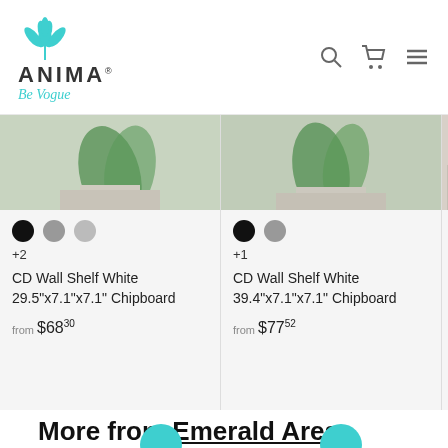[Figure (logo): Anima Be Vogue logo with teal leaf design]
CD Wall Shelf White 29.5"x7.1"x7.1" Chipboard
from $68.30
+2
CD Wall Shelf White 39.4"x7.1"x7.1" Chipboard
from $77.52
+1
Anima Box W Chipb...
from $
+2
More from Emerald Ares